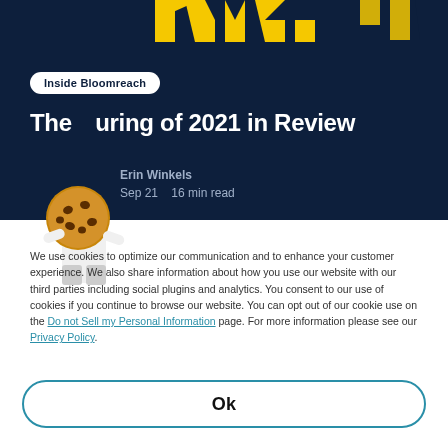[Figure (illustration): Dark navy header background with yellow geometric logo shapes at top, Bloomreach branding]
Inside Bloomreach
The Curing of 2021 in Review
Erin Winkels
Sep 21  16 min read
[Figure (illustration): Cookie mascot illustration — a bald man in white shirt holding a large chocolate chip cookie in front of his face]
We use cookies to optimize our communication and to enhance your customer experience. We also share information about how you use our website with our third parties including social plugins and analytics. You consent to our use of cookies if you continue to browse our website. You can opt out of our cookie use on the Do not Sell my Personal Information page. For more information please see our Privacy Policy.
Ok